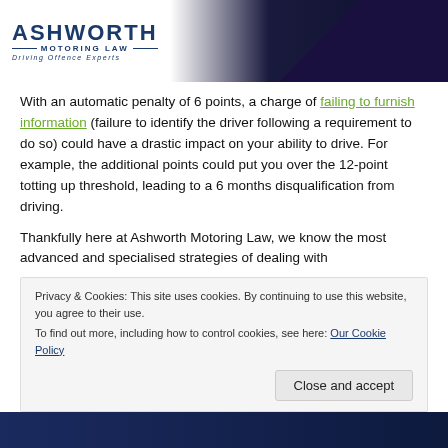[Figure (logo): Ashworth Motoring Law logo — Driving Offence Experts, white and dark navy header background]
With an automatic penalty of 6 points, a charge of failing to furnish information (failure to identify the driver following a requirement to do so) could have a drastic impact on your ability to drive. For example, the additional points could put you over the 12-point totting up threshold, leading to a 6 months disqualification from driving.
Thankfully here at Ashworth Motoring Law, we know the most advanced and specialised strategies of dealing with
Privacy & Cookies: This site uses cookies. By continuing to use this website, you agree to their use. To find out more, including how to control cookies, see here: Our Cookie Policy
Close and accept